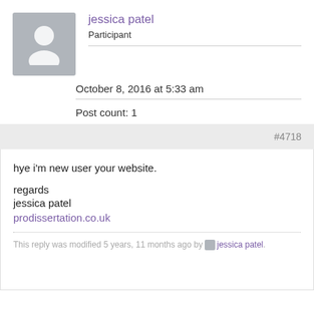[Figure (illustration): Gray placeholder avatar icon showing a silhouetted person]
jessica patel
Participant
October 8, 2016 at 5:33 am
Post count: 1
#4718
hye i'm new user your website.

regards
jessica patel
prodissertation.co.uk
This reply was modified 5 years, 11 months ago by jessica patel.